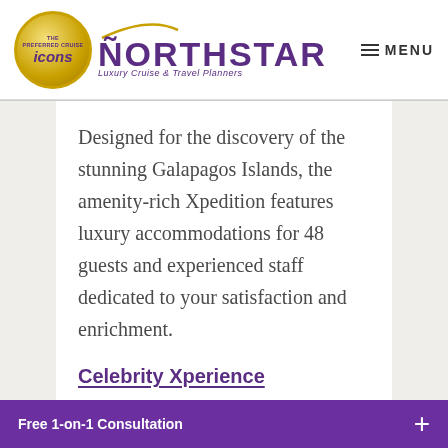NORTHSTAR Luxury Cruise & Travel Planners | MENU
Designed for the discovery of the stunning Galapagos Islands, the amenity-rich Xpedition features luxury accommodations for 48 guests and experienced staff dedicated to your satisfaction and enrichment.
Celebrity Xperience
Free 1-on-1 Consultation +